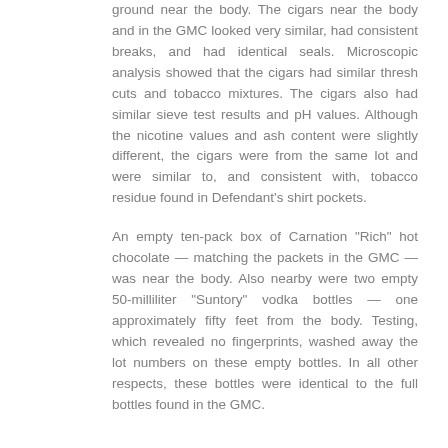ground near the body. The cigars near the body and in the GMC looked very similar, had consistent breaks, and had identical seals. Microscopic analysis showed that the cigars had similar thresh cuts and tobacco mixtures. The cigars also had similar sieve test results and pH values. Although the nicotine values and ash content were slightly different, the cigars were from the same lot and were similar to, and consistent with, tobacco residue found in Defendant's shirt pockets.
An empty ten-pack box of Carnation "Rich" hot chocolate — matching the packets in the GMC — was near the body. Also nearby were two empty 50-milliliter "Suntory" vodka bottles — one approximately fifty feet from the body. Testing, which revealed no fingerprints, washed away the lot numbers on these empty bottles. In all other respects, these bottles were identical to the full bottles found in the GMC.